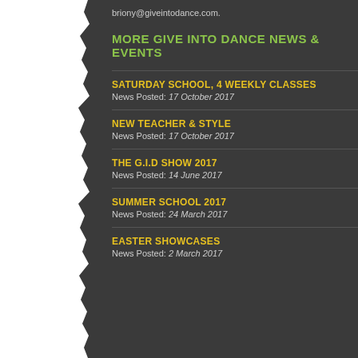briony@giveintodance.com.
MORE GIVE INTO DANCE NEWS & EVENTS
SATURDAY SCHOOL, 4 WEEKLY CLASSES
News Posted: 17 October 2017
NEW TEACHER & STYLE
News Posted: 17 October 2017
THE G.I.D SHOW 2017
News Posted: 14 June 2017
SUMMER SCHOOL 2017
News Posted: 24 March 2017
EASTER SHOWCASES
News Posted: 2 March 2017